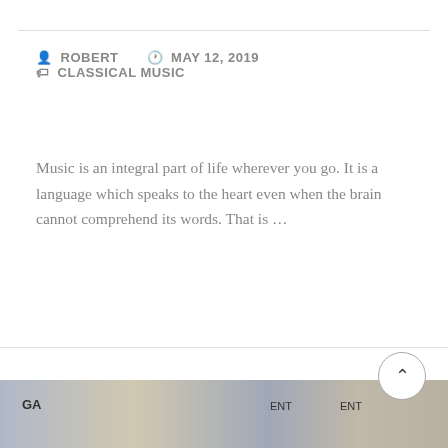ROBERT   MAY 12, 2019   CLASSICAL MUSIC
Music is an integral part of life wherever you go. It is a language which speaks to the heart even when the brain cannot comprehend its words. That is …
CONTINUE →
[Figure (photo): Bottom strip showing a group photo of people at an event with partial text 'GA' and 'ENT' visible on backdrop banners]